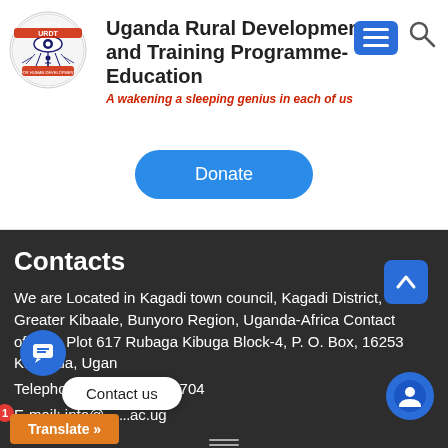[Figure (logo): URDT Education logo - circular emblem with eye and human development imagery]
Uganda Rural Development and Training Programme-Education
A wakening a sleeping genius in each of us
[Figure (screenshot): Navigation hamburger menu button (blue) and search icon]
Donate
Contacts
We are Located in Kagadi town council, Kagadi District, Greater Kibaale, Bunyoro Region, Uganda-Africa Contact office – Plot 617 Rubaga Kibuga Block-4, P. O. Box, 16253 Kampala, Uganda
Telephone:+256 414 256704
E-mail: info@...ac.ug
[Figure (screenshot): Chat bubble icon with notification badge '1' and 'Contact us' pill overlay]
Contact us
Translate »
[Figure (screenshot): Scroll up button (blue square with up arrow) and bot/chat icon (blue circle)]